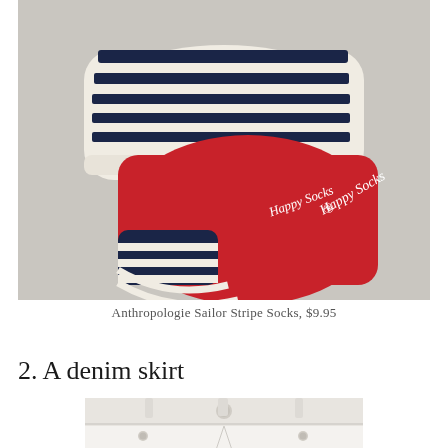[Figure (photo): Photo of Happy Socks sailor stripe socks in red, white, and navy, folded and stacked on a light gray background. The socks show navy and white horizontal stripes on top and red with white stripes on the toe area. The Happy Socks logo is visible in white script.]
Anthropologie Sailor Stripe Socks, $9.95
2. A denim skirt
[Figure (photo): Partial photo of a white denim skirt showing the waistband, button closure, and front pocket rivets on a white/light background.]